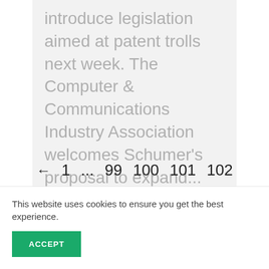introduce legislation aimed at patent trolls next week. The Computer & Communications Industry Association welcomes Schumer's proposal to expand...
← 1 ... 99 100 101 102
103 162 →
This website uses cookies to ensure you get the best experience.
ACCEPT